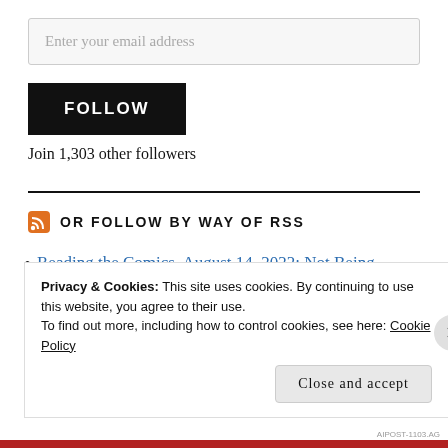Enter your email address
FOLLOW
Join 1,303 other followers
OR FOLLOW BY WAY OF RSS
Reading the Comics, August 14, 2022: Not Being
Privacy & Cookies: This site uses cookies. By continuing to use this website, you agree to their use.
To find out more, including how to control cookies, see here: Cookie Policy
Close and accept